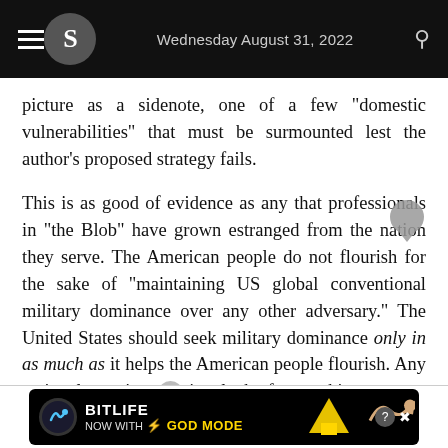Wednesday August 31, 2022
picture as a sidenote, one of a few "domestic vulnerabilities" that must be surmounted lest the author's proposed strategy fails.
This is as good of evidence as any that professionals in "the Blob" have grown estranged from the nation they serve. The American people do not flourish for the sake of "maintaining US global conventional military dominance over any other adversary." The United States should seek military dominance only in as much as it helps the American people flourish. Any national security professional who forgets this
[Figure (screenshot): BitLife advertisement banner with 'NOW WITH GOD MODE' text and game imagery]